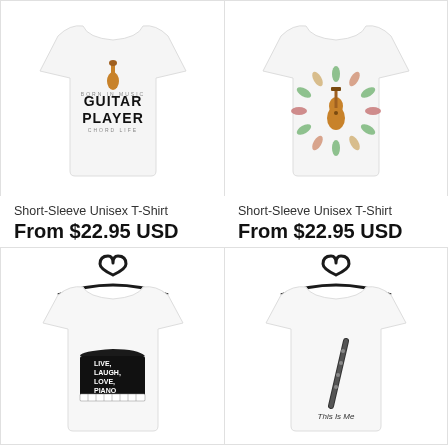[Figure (photo): White short-sleeve t-shirt with Guitar Player graphic design showing a guitar and bold text 'GUITAR PLAYER']
[Figure (photo): White short-sleeve t-shirt with a floral wreath and guitar graphic design]
Short-Sleeve Unisex T-Shirt
From $22.95 USD
Short-Sleeve Unisex T-Shirt
From $22.95 USD
[Figure (photo): White short-sleeve t-shirt on a hanger with 'Live, Laugh, Love, Piano' grand piano graphic design]
[Figure (photo): White short-sleeve t-shirt on a hanger with a clarinet graphic and 'This Is Me' text]